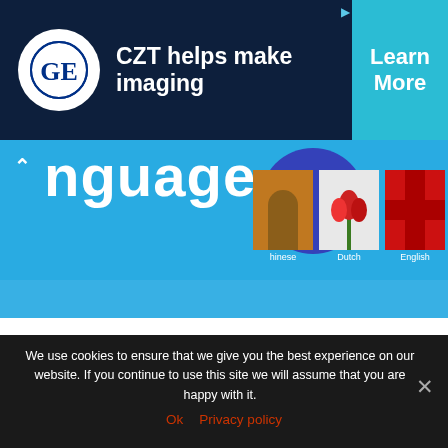[Figure (screenshot): GE Healthcare banner ad: dark navy background with GE logo circle on left, text 'CZT helps make imaging' in white, and teal 'Learn More' button on right. Small play/ad icon top right.]
[Figure (screenshot): Language learning website banner in blue showing partial text 'nguage' with chevron-up icon, a dark blue circle, and thumbnail images labeled Chinese, Dutch, English on the right side.]
[Figure (screenshot): Rosetta Stone advertisement block: Rosetta Stone logo on left, blue bold heading 'Get Rosetta Stone® for $179', body text 'Master the language you've always wanted to learn. Join Rosetta Stone®...']
[Figure (screenshot): Bottom bar showing 'Rosetta Stone®' brand name on left and 'Sign Up >' link in blue on right.]
We use cookies to ensure that we give you the best experience on our website. If you continue to use this site we will assume that you are happy with it.
Ok   Privacy policy